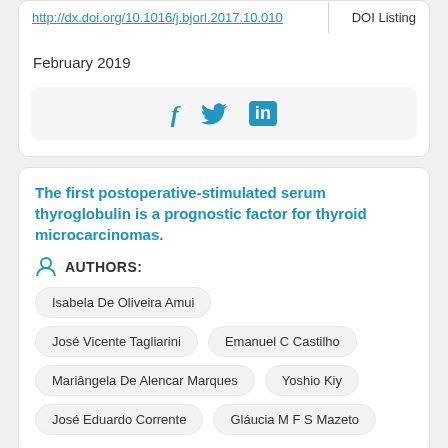| DOI URL | Type |
| --- | --- |
| http://dx.doi.org/10.1016/j.bjorl.2017.10.010 | DOI Listing |
February 2019
[Figure (infographic): Social sharing icons: Facebook (f), Twitter (bird), LinkedIn (in)]
The first postoperative-stimulated serum thyroglobulin is a prognostic factor for thyroid microcarcinomas.
AUTHORS:
Isabela De Oliveira Amui
José Vicente Tagliarini
Emanuel C Castilho
Mariângela De Alencar Marques
Yoshio Kiy
José Eduardo Corrente
Gláucia M F S Mazeto